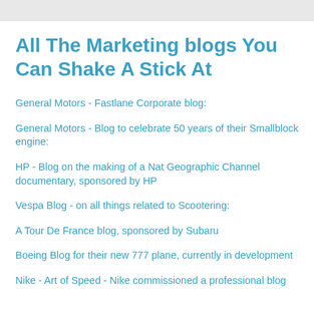All The Marketing blogs You Can Shake A Stick At
General Motors - Fastlane Corporate blog:
General Motors - Blog to celebrate 50 years of their Smallblock engine:
HP - Blog on the making of a Nat Geographic Channel documentary, sponsored by HP
Vespa Blog - on all things related to Scootering:
A Tour De France blog, sponsored by Subaru
Boeing Blog for their new 777 plane, currently in development
Nike - Art of Speed - Nike commissioned a professional blog